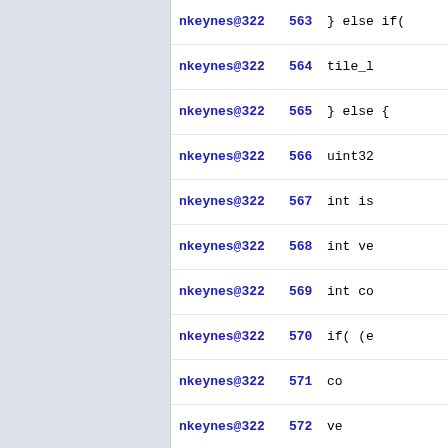| author | line | code |
| --- | --- | --- |
| nkeynes@322 | 563 | } else if( |
| nkeynes@322 | 564 | tile_l |
| nkeynes@322 | 565 | } else { |
| nkeynes@322 | 566 | uint32 |
| nkeynes@322 | 567 | int is |
| nkeynes@322 | 568 | int ve |
| nkeynes@322 | 569 | int co |
| nkeynes@322 | 570 | if( (e |
| nkeynes@322 | 571 | co |
| nkeynes@322 | 572 | ve |